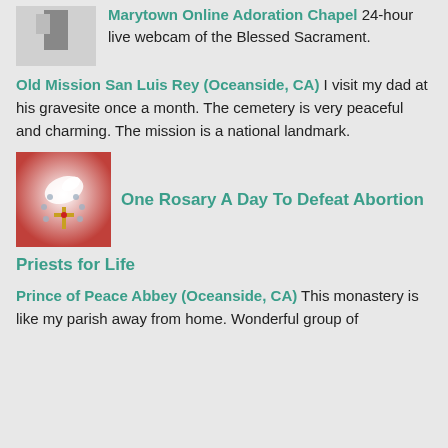Marytown Online Adoration Chapel 24-hour live webcam of the Blessed Sacrament.
Old Mission San Luis Rey (Oceanside, CA) I visit my dad at his gravesite once a month. The cemetery is very peaceful and charming. The mission is a national landmark.
[Figure (photo): Image of rosary beads with cross on red and white background]
One Rosary A Day To Defeat Abortion
Priests for Life
Prince of Peace Abbey (Oceanside, CA) This monastery is like my parish away from home. Wonderful group of